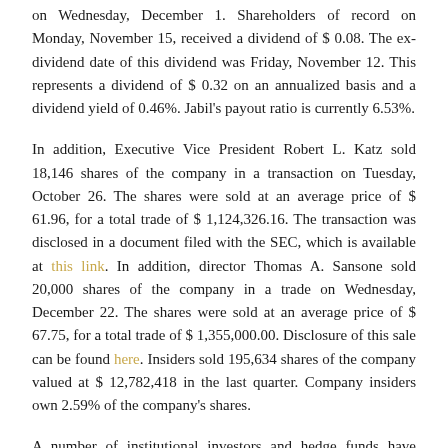on Wednesday, December 1. Shareholders of record on Monday, November 15, received a dividend of $ 0.08. The ex-dividend date of this dividend was Friday, November 12. This represents a dividend of $ 0.32 on an annualized basis and a dividend yield of 0.46%. Jabil's payout ratio is currently 6.53%.
In addition, Executive Vice President Robert L. Katz sold 18,146 shares of the company in a transaction on Tuesday, October 26. The shares were sold at an average price of $ 61.96, for a total trade of $ 1,124,326.16. The transaction was disclosed in a document filed with the SEC, which is available at this link. In addition, director Thomas A. Sansone sold 20,000 shares of the company in a trade on Wednesday, December 22. The shares were sold at an average price of $ 67.75, for a total trade of $ 1,355,000.00. Disclosure of this sale can be found here. Insiders sold 195,634 shares of the company valued at $ 12,782,418 in the last quarter. Company insiders own 2.59% of the company's shares.
A number of institutional investors and hedge funds have recently bought and sold shares of JBL. Envestnet Asset Management Inc. increased its holdings in Jabil by 11.6% in the second quarter. Envestnet Asset